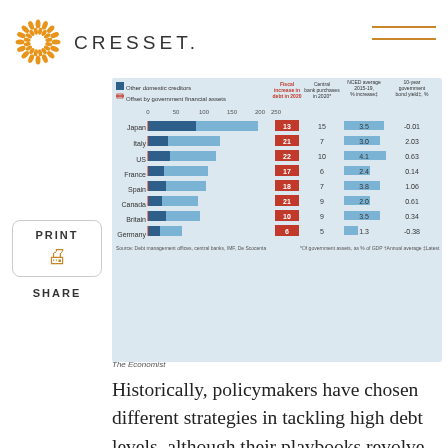CRESSET
[Figure (grouped-bar-chart): Horizontal bar chart showing other domestic creditors and offset by government financial assets, plus columns for fiscal increase in debt in 2020, central bank purchases in 2020, NCED average 2015-19 % increase, and 10-year government bond yield %]
The Economist
Historically, policymakers have chosen different strategies in tackling high debt levels, although their playbooks revolve around similar themes. After World War II countries shrank their debts over the course of decades through a